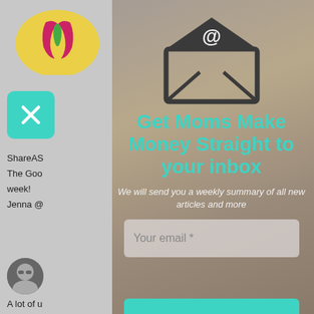[Figure (screenshot): Email newsletter signup modal overlay on a webpage. Left side shows gray sidebar with logo, teal X close button, and partial text. Right side shows blurred brownish background with envelope/email icon, teal headline, italic white subheadline, email input field, and teal subscribe button partially visible.]
Get Moms Make Money Straight to your inbox
We will send you a weekly summary of all new articles and more
Your email *
ShareAS
The Goo
week!
Jenna @
A lot of u
money, th
Thank yo